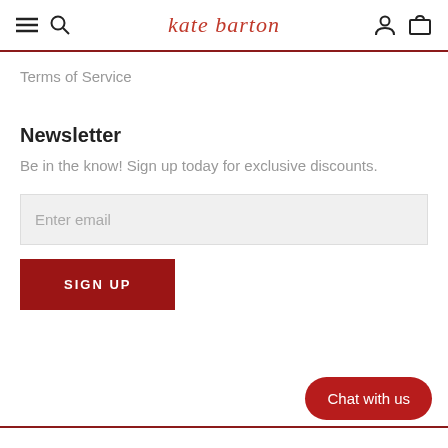kate barton
Terms of Service
Newsletter
Be in the know! Sign up today for exclusive discounts.
Enter email
SIGN UP
Chat with us